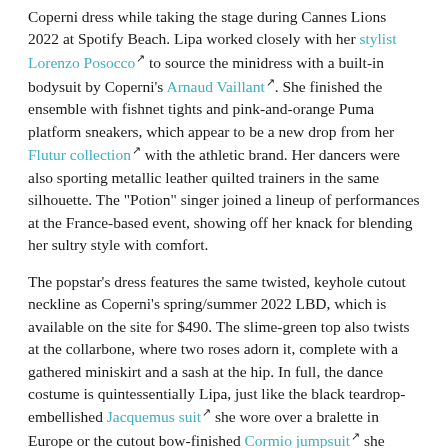Coperni dress while taking the stage during Cannes Lions 2022 at Spotify Beach. Lipa worked closely with her stylist Lorenzo Posocco to source the minidress with a built-in bodysuit by Coperni's Arnaud Vaillant. She finished the ensemble with fishnet tights and pink-and-orange Puma platform sneakers, which appear to be a new drop from her Flutur collection with the athletic brand. Her dancers were also sporting metallic leather quilted trainers in the same silhouette. The "Potion" singer joined a lineup of performances at the France-based event, showing off her knack for blending her sultry style with comfort.
The popstar's dress features the same twisted, keyhole cutout neckline as Coperni's spring/summer 2022 LBD, which is available on the site for $490. The slime-green top also twists at the collarbone, where two roses adorn it, complete with a gathered miniskirt and a sash at the hip. In full, the dance costume is quintessentially Lipa, just like the black teardrop-embellished Jacquemus suit she wore over a bralette in Europe or the cutout bow-finished Cormio jumpsuit she coordinated with Mach & Mach PVC pumps for a bathtub photo